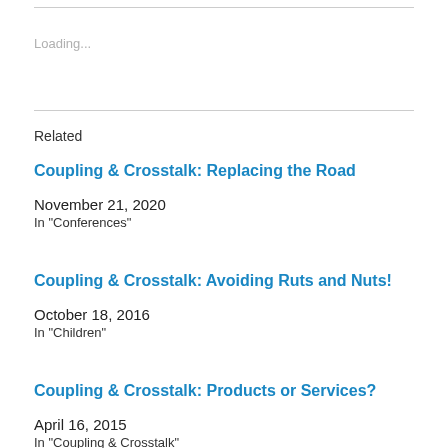Loading...
Related
Coupling & Crosstalk: Replacing the Road
November 21, 2020
In "Conferences"
Coupling & Crosstalk: Avoiding Ruts and Nuts!
October 18, 2016
In "Children"
Coupling & Crosstalk: Products or Services?
April 16, 2015
In "Coupling & Crosstalk"